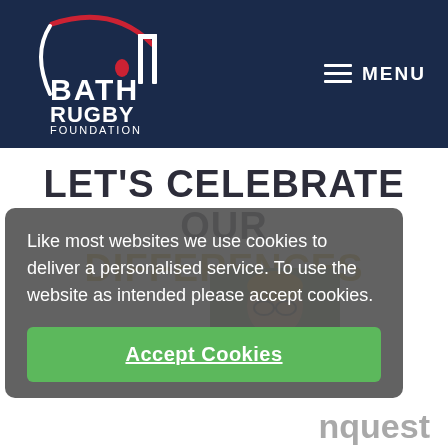[Figure (logo): Bath Rugby Foundation logo — white text on dark navy background with red arc graphic]
MENU
LET'S CELEBRATE OUR DIFFERENCES
[Figure (photo): Photo of a woman with glasses and blonde hair outdoors]
Like most websites we use cookies to deliver a personalised service. To use the website as intended please accept cookies.
Accept Cookies